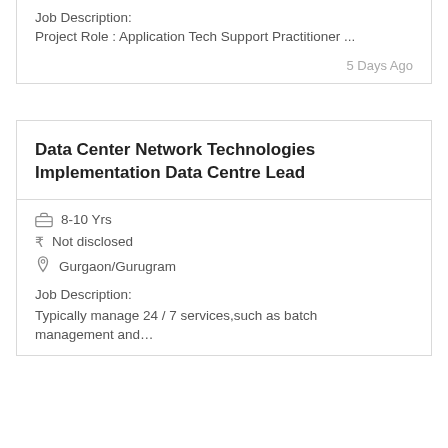Job Description:
Project Role : Application Tech Support Practitioner ...
5 Days Ago
Data Center Network Technologies Implementation Data Centre Lead
8-10 Yrs
₹ Not disclosed
Gurgaon/Gurugram
Job Description:
Typically manage 24 / 7 services,such as batch management and…